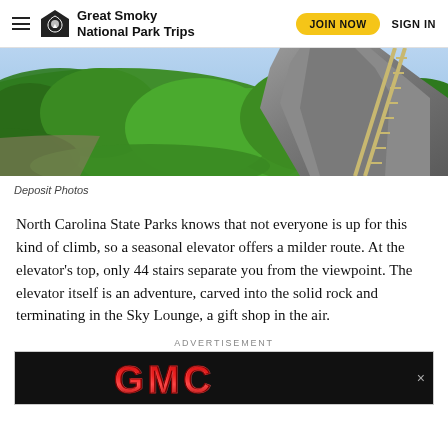Great Smoky National Park Trips  JOIN NOW  SIGN IN
[Figure (photo): Aerial view of a large rock formation with dense green forest and what appears to be a railway or stairway track running along the side of the cliff]
Deposit Photos
North Carolina State Parks knows that not everyone is up for this kind of climb, so a seasonal elevator offers a milder route. At the elevator's top, only 44 stairs separate you from the viewpoint. The elevator itself is an adventure, carved into the solid rock and terminating in the Sky Lounge, a gift shop in the air.
ADVERTISEMENT
[Figure (logo): GMC logo advertisement banner with red metallic lettering on dark background]